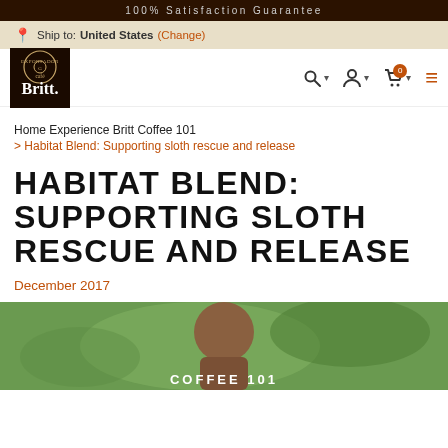100% Satisfaction Guarantee
Ship to: United States (Change)
[Figure (logo): Café Britt logo — white text on dark brown background with circular emblem]
Navigation icons: search, account, cart (0), menu
Home Experience Britt Coffee 101 > Habitat Blend: Supporting sloth rescue and release
HABITAT BLEND: SUPPORTING SLOTH RESCUE AND RELEASE
December 2017
[Figure (photo): Partial photo showing bokeh green background with a person's head, overlaid with text COFFEE 101]